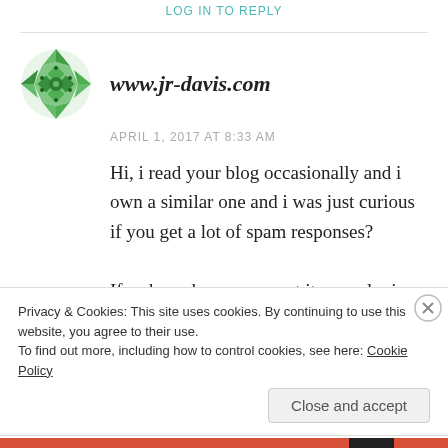LOG IN TO REPLY
[Figure (illustration): Green geometric mosaic/kaleidoscope circular avatar icon for www.jr-davis.com]
www.jr-davis.com
APRIL 1, 2017 AT 8:33 AM
Hi, i read your blog occasionally and i own a similar one and i was just curious if you get a lot of spam responses?
If so how do you prevent it, any plugin or
Privacy & Cookies: This site uses cookies. By continuing to use this website, you agree to their use.
To find out more, including how to control cookies, see here: Cookie Policy
Close and accept